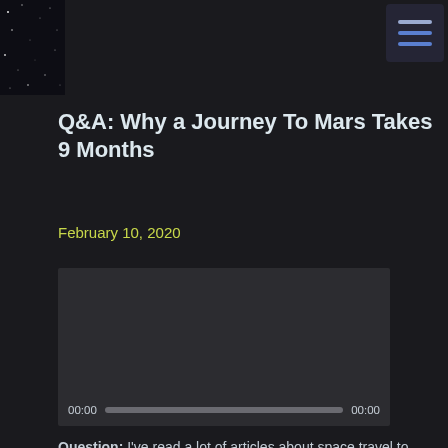[Figure (photo): Star field / space background image in top-left corner]
[Figure (screenshot): Hamburger menu icon with three horizontal lines in top-right corner, dark background]
Q&A: Why a Journey To Mars Takes 9 Months
February 10, 2020
[Figure (screenshot): Embedded video player with dark background and playback controls showing 00:00 / 00:00]
Question: I've read a lot of articles about space travel to Mars, and they all cite pretty much the same travel time of 9 months. Why can't we build more powerful